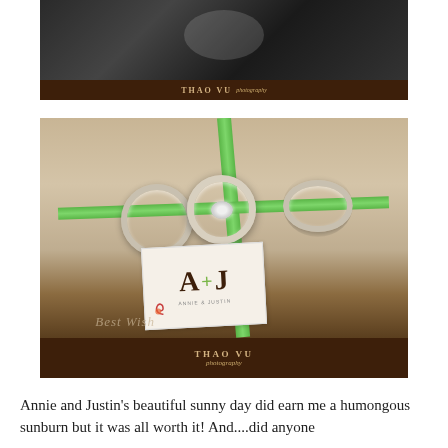[Figure (photo): Black and white photograph (partially visible/cropped at top) with 'Thao Vu Photography' watermark bar at bottom]
[Figure (photo): Close-up photograph of wedding rings on a decorative item with green ribbon and an A+J wedding card. 'Thao Vu Photography' watermark bar at bottom.]
Annie and Justin's beautiful sunny day did earn me a humongous sunburn but it was all worth it! And....did anyone